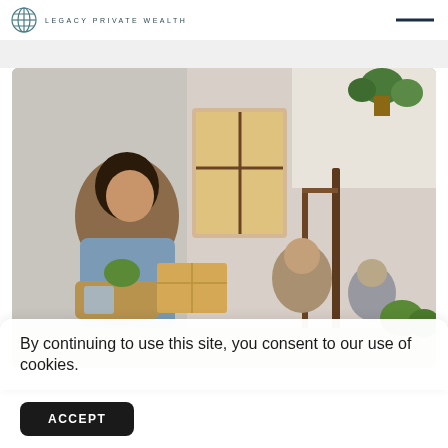LEGACY PRIVATE WEALTH
[Figure (photo): A smiling woman carrying a wicker basket full of household items and a plant, with a cardboard moving box under her arm, standing on a staircase in a bright home. Other people visible in background also carrying boxes. Green plants on upper railing visible.]
By continuing to use this site, you consent to our use of cookies.
ACCEPT